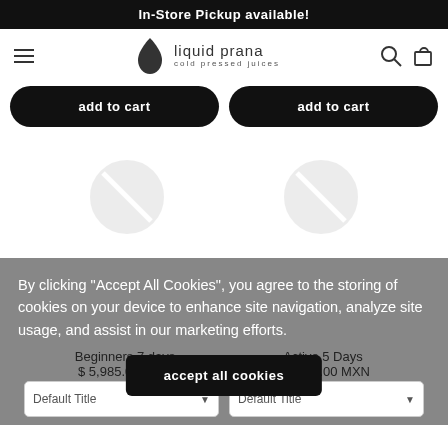In-Store Pickup available!
[Figure (logo): Liquid Prana cold pressed juices logo with a water drop icon]
add to cart
add to cart
By clicking “Accept All Cookies”, you agree to the storing of cookies on your device to enhance site navigation, analyze site usage, and assist in our marketing efforts.
Beginners 7 days
$ 5,985.00 MXN
Active 5 Days
$ 4,575.00 MXN
accept all cookies
Default Title
Default Title